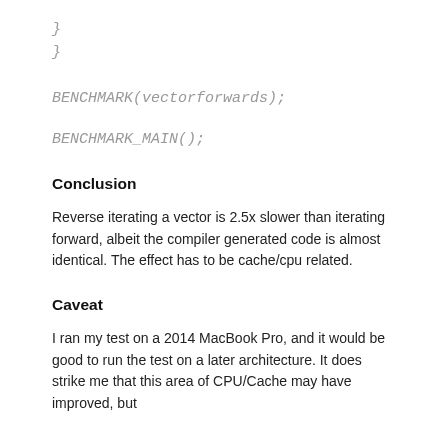}
}
BENCHMARK(vectorforwards);
BENCHMARK_MAIN();
Conclusion
Reverse iterating a vector is 2.5x slower than iterating forward, albeit the compiler generated code is almost identical. The effect has to be cache/cpu related.
Caveat
I ran my test on a 2014 MacBook Pro, and it would be good to run the test on a later architecture. It does strike me that this area of CPU/Cache may have improved, but